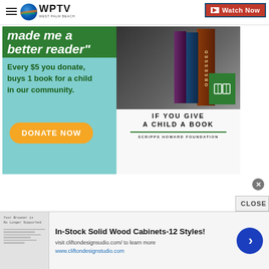WPTV West Palm Beach | Watch Now
[Figure (illustration): Charity advertisement: 'made me a better reader' — Every $5 you donate, buys 1 book for a child in our community. DONATE NOW. IF YOU GIVE A CHILD A BOOK — Scripps Howard Foundation]
[Figure (infographic): Bottom banner ad: In-Stock Solid Wood Cabinets-12 Styles! visit cliftondesignsudio.com/ to learn more. www.cliftondesignstudio.com. Browser screenshot thumbnail on left, next arrow button on right.]
In-Stock Solid Wood Cabinets-12 Styles!
visit cliftondesignsudio.com/ to learn more
www.cliftondesignstudio.com